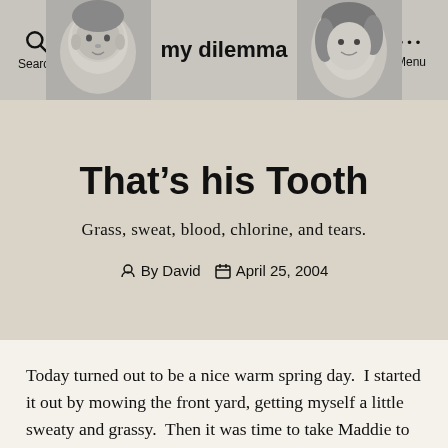my dilemma
That’s his Tooth
Grass, sweat, blood, chlorine, and tears.
By David • April 25, 2004
Today turned out to be a nice warm spring day.  I started it out by mowing the front yard, getting myself a little sweaty and grassy.  Then it was time to take Maddie to her swimming lessons for a half an hour.  It’s an indoor pool and like always until today they had...